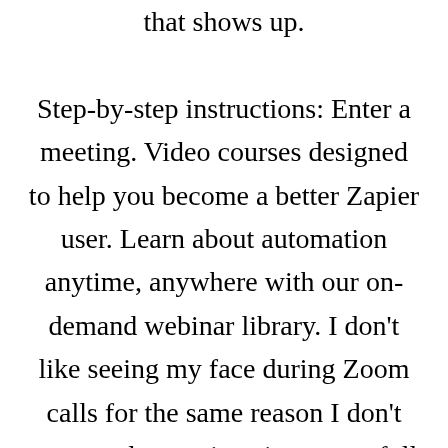that shows up. Step-by-step instructions: Enter a meeting. Video courses designed to help you become a better Zapier user. Learn about automation anytime, anywhere with our on-demand webinar library. I don't like seeing my face during Zoom calls for the same reason I don't want to do meetings in a room full of mirrors. It's distracting and mildly nauseating. Good thing I can hide myself in Zoom. Zoom, by default, puts all meeting participants at the